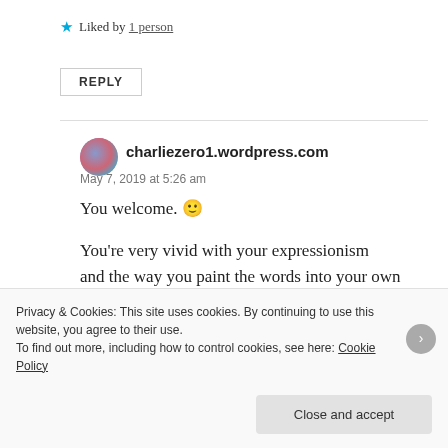★ Liked by 1 person
REPLY
charliezero1.wordpress.com
May 7, 2019 at 5:26 am
You welcome. 🙂
You're very vivid with your expressionism and the way you paint the words into your own canvas of harmony. 🙂
Privacy & Cookies: This site uses cookies. By continuing to use this website, you agree to their use. To find out more, including how to control cookies, see here: Cookie Policy
Close and accept